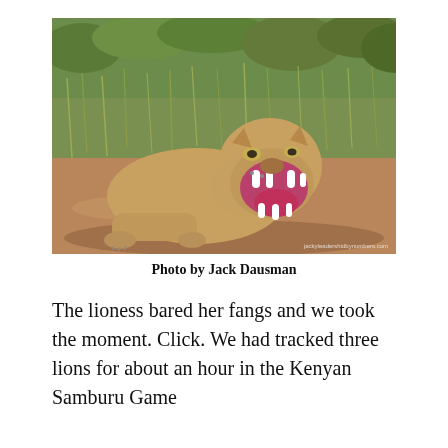[Figure (photo): A lioness lying on sandy ground with mouth wide open showing fangs and pink interior, with green scrubby grass/bush in the background. Watermark text reads 'jackyleadershidbynumbers.com' in bottom right corner.]
Photo by Jack Dausman
The lioness bared her fangs and we took the moment. Click. We had tracked three lions for about an hour in the Kenyan Samburu Game